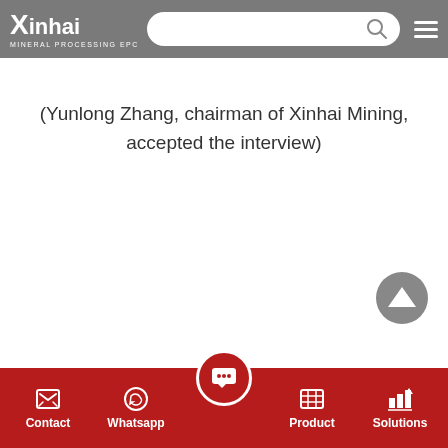Xinhai MINERAL PROCESSING EPC
(Yunlong Zhang, chairman of Xinhai Mining, accepted the interview)
Contact | Whatsapp | Product | Solutions